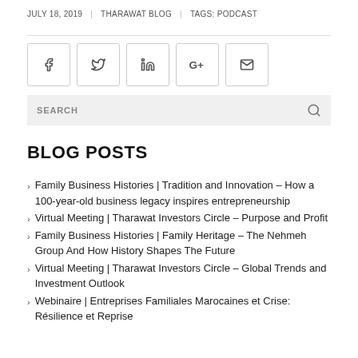JULY 18, 2019 | THARAWAT BLOG | TAGS: PODCAST
BLOG POSTS
Family Business Histories | Tradition and Innovation – How a 100-year-old business legacy inspires entrepreneurship
Virtual Meeting | Tharawat Investors Circle – Purpose and Profit
Family Business Histories | Family Heritage – The Nehmeh Group And How History Shapes The Future
Virtual Meeting | Tharawat Investors Circle – Global Trends and Investment Outlook
Webinaire | Entreprises Familiales Marocaines et Crise: Résilience et Reprise